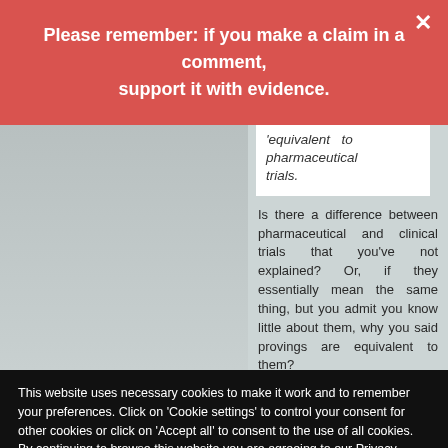Please remember: if you make a claim in a comment, support it with evidence.
'equivalent to pharmaceutical trials.
Is there a difference between pharmaceutical and clinical trials that you've not explained? Or, if they essentially mean the same thing, but you admit you know little about them, why you said provings are equivalent to them?
This website uses necessary cookies to make it work and to remember your preferences. Click on 'Cookie settings' to control your consent for other cookies or click on 'Accept all' to consent to the use of all cookies. By continuing to browse this website you are agreeing to our Privacy policy.